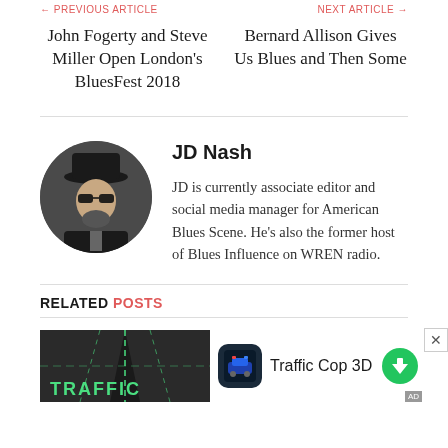← PREVIOUS ARTICLE   NEXT ARTICLE →
John Fogerty and Steve Miller Open London's BluesFest 2018
Bernard Allison Gives Us Blues and Then Some
JD Nash
JD is currently associate editor and social media manager for American Blues Scene. He's also the former host of Blues Influence on WREN radio.
RELATED POSTS
[Figure (photo): Traffic cop game advertisement banner showing road/traffic scene with TRAFFIC text, app icon, Traffic Cop 3D label, and download button]